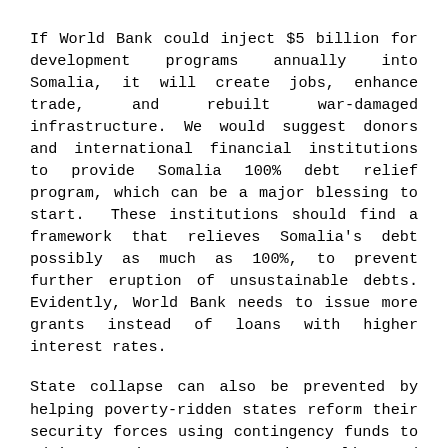If World Bank could inject $5 billion for development programs annually into Somalia, it will create jobs, enhance trade, and rebuilt war-damaged infrastructure. We would suggest donors and international financial institutions to provide Somalia 100% debt relief program, which can be a major blessing to start.  These institutions should find a framework that relieves Somalia's debt possibly as much as 100%, to prevent further eruption of unsustainable debts. Evidently, World Bank needs to issue more grants instead of loans with higher interest rates.
State collapse can also be prevented by helping poverty-ridden states reform their security forces using contingency funds to advice, train, or support its police and military forces. Strengthening Somali Federal Govt. capacity to police its territory is a crucial element of state building. AMISOM's contract that undermines Somalia security-sector must be reconfigured. One of the fundamental reasons for AMISOM's success in reacting to